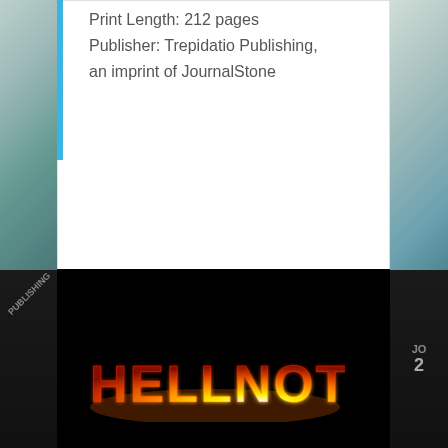Print Length: 212 pages
Publisher: Trepidatio Publishing, an imprint of JournalStone
Home / JournalStone's Books / Spectral Evidence
[Figure (logo): HELLNOTES logo with fiery orange/flame text effect on black background]